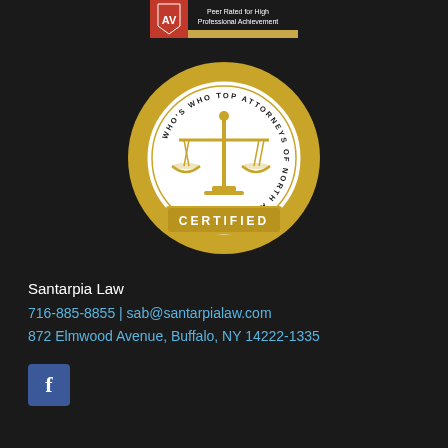[Figure (logo): Martindale-Hubbell Peer Rated for High Professional Achievement badge at top center]
[Figure (logo): Who's Who Top Attorneys of North America gold certified seal with scales of justice]
Santarpia Law
716-885-8855 | sab@santarpialaw.com
872 Elmwood Avenue, Buffalo, NY 14222-1335
[Figure (logo): Facebook social media icon button]